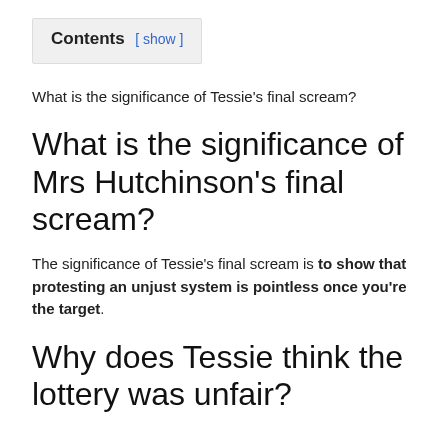Contents [ show ]
What is the significance of Tessie's final scream?
What is the significance of Mrs Hutchinson's final scream?
The significance of Tessie's final scream is to show that protesting an unjust system is pointless once you're the target.
Why does Tessie think the lottery was unfair?